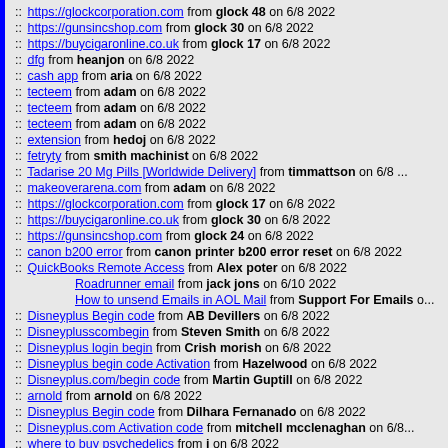:: https://glockcorporation.com from glock 48 on 6/8 2022
:: https://gunsincshop.com from glock 30 on 6/8 2022
:: https://buycigaronline.co.uk from glock 17 on 6/8 2022
:: dfg from heanjon on 6/8 2022
:: cash app from aria on 6/8 2022
:: tecteem from adam on 6/8 2022
:: tecteem from adam on 6/8 2022
:: tecteem from adam on 6/8 2022
:: extension from hedoj on 6/8 2022
:: fetryty from smith machinist on 6/8 2022
:: Tadarise 20 Mg Pills [Worldwide Delivery] from timmattson on 6/8 ...
:: makeoverarena.com from adam on 6/8 2022
:: https://glockcorporation.com from glock 17 on 6/8 2022
:: https://buycigaronline.co.uk from glock 30 on 6/8 2022
:: https://gunsincshop.com from glock 24 on 6/8 2022
:: canon b200 error from canon printer b200 error reset on 6/8 2022
:: QuickBooks Remote Access from Alex poter on 6/8 2022
Roadrunner email from jack jons on 6/10 2022
How to unsend Emails in AOL Mail from Support For Emails o...
:: Disneyplus Begin code from AB Devillers on 6/8 2022
:: Disneyplusscombegin from Steven Smith on 6/8 2022
:: Disneyplus login begin from Crish morish on 6/8 2022
:: Disneyplus begin code Activation from Hazelwood on 6/8 2022
:: Disneyplus.com/begin code from Martin Guptill on 6/8 2022
:: arnold from arnold on 6/8 2022
:: Disneyplus Begin code from Dilhara Fernanado on 6/8 2022
:: Disneyplus.com Activation code from mitchell mcclenaghan on 6/8...
:: where to buy psychedelics from j on 6/8 2022
:: where to buy psychedelics from junior on 6/8 2022
:: where to buy psychedelics from johnson on 6/8 2022